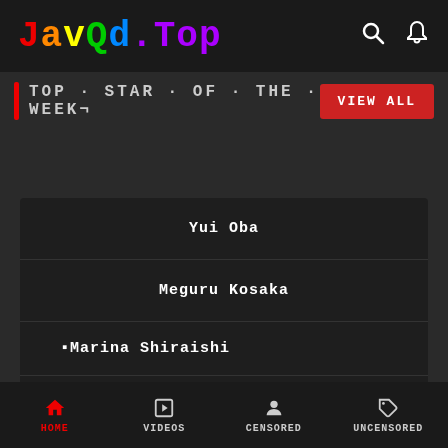JavQd.Top
TOP STAR OF THE WEEK¬
Yui Oba
Meguru Kosaka
[Figure (photo): Broken image placeholder for Marina Shiraishi]
Marina Shirai..
HOME  VIDEOS  CENSORED  UNCENSORED